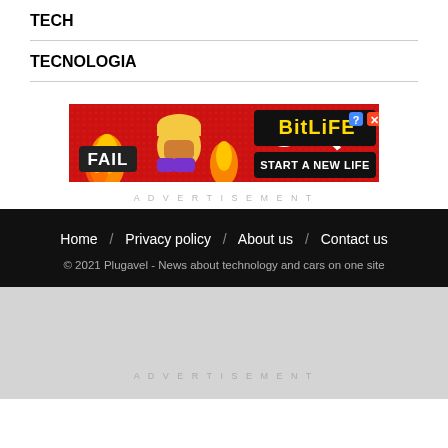TECH
TECNOLOGIA
[Figure (other): BitLife advertisement banner: 'FAIL' text on left, cartoon character, flames, sperm icon, BitLife logo, 'START A NEW LIFE' button on red background]
ADVERTISEMENT
Home / Privacy policy / About us / Contact us
© 2021 Plugavel - News about technology and cars on one site
ADVERTISEMENT